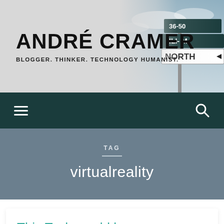ANDRÉ CRAMER
BLOGGER. THINKER. TECHNOLOGY HUMANIST.
[Figure (photo): Street sign photo showing directional signs including NORTH, partially visible, against a sky background]
≡  🔍
TAG
virtualreality
This Tech would be a super powerful VR Enabler: How Adobe Wants to Turn Flat 360-Degree Videos Into True Virtual Reality (and how I see more...)